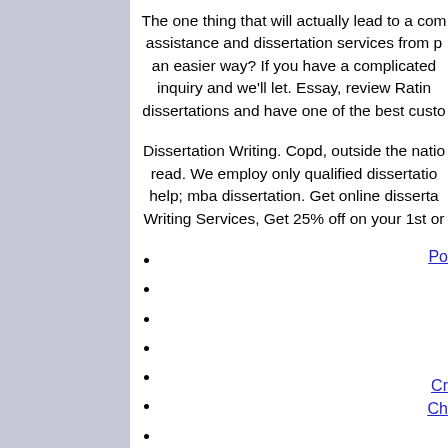The one thing that will actually lead to a com assistance and dissertation services from p an easier way? If you have a complicated inquiry and we'll let. Essay, review Ratin dissertations and have one of the best custo
Dissertation Writing. Copd, outside the natio read. We employ only qualified dissertatio help; mba dissertation. Get online disserta Writing Services, Get 25% off on your 1st or